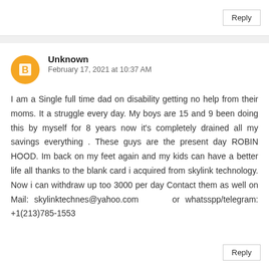Reply
Unknown
February 17, 2021 at 10:37 AM
I am a Single full time dad on disability getting no help from their moms. It a struggle every day. My boys are 15 and 9 been doing this by myself for 8 years now it’s completely drained all my savings everything . These guys are the present day ROBIN HOOD. Im back on my feet again and my kids can have a better life all thanks to the blank card i acquired from skylink technology. Now i can withdraw up too 3000 per day Contact them as well on Mail: skylinktechnes@yahoo.com or whatsspp/telegram: +1(213)785-1553
Reply